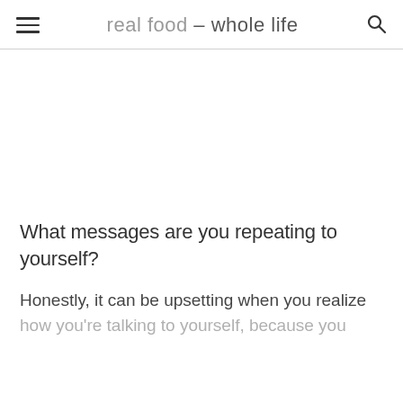real food - whole life
What messages are you repeating to yourself?
Honestly, it can be upsetting when you realize how you're talking to yourself, because you